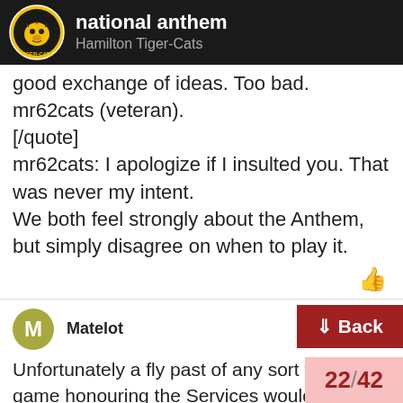national anthem — Hamilton Tiger-Cats
good exchange of ideas. Too bad.
mr62cats (veteran).
[/quote]
mr62cats: I apologize if I insulted you. That was never my intent.
We both feel strongly about the Anthem, but simply disagree on when to play it.
Matelot Sep '07
Unfortunately a fly past of any sort for game honouring the Services would not ble, game starts 6:30, sunset is at 6:20 t Although the afterburners would loc